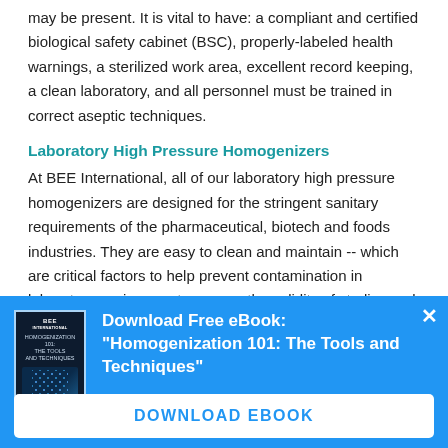may be present. It is vital to have: a compliant and certified biological safety cabinet (BSC), properly-labeled health warnings, a sterilized work area, excellent record keeping, a clean laboratory, and all personnel must be trained in correct aseptic techniques.
Laboratory High Pressure Homogenizers
At BEE International, all of our laboratory high pressure homogenizers are designed for the stringent sanitary requirements of the pharmaceutical, biotech and foods industries. They are easy to clean and maintain -- which are critical factors to help prevent contamination in laboratory environments, ensure the validity of studies and findings, and
[Figure (screenshot): Blue promotional popup banner with book cover image on the left and text: Download Free eBook: "Homogenization 101: The Tools and Techniques" with a close (x) button and a white DOWNLOAD EBOOK button at the bottom.]